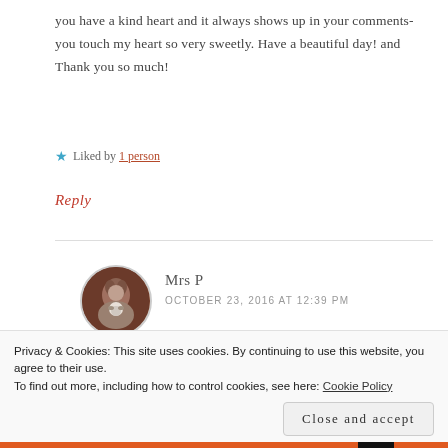you have a kind heart and it always shows up in your comments-you touch my heart so very sweetly. Have a beautiful day! and Thank you so much!
★ Liked by 1 person
Reply
[Figure (photo): Circular avatar photo of a person holding a stuffed animal, with dark reddish-brown background]
Mrs P
OCTOBER 23, 2016 AT 12:39 PM
Privacy & Cookies: This site uses cookies. By continuing to use this website, you agree to their use. To find out more, including how to control cookies, see here: Cookie Policy
Close and accept